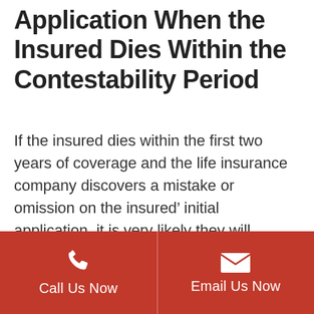Application When the Insured Dies Within the Contestability Period
If the insured dies within the first two years of coverage and the life insurance company discovers a mistake or omission on the insured’ initial application, it is very likely they will rescind the policy and deny any claim for death benefits.
The first two years of life insurance
Call Us Now | Email Us Now